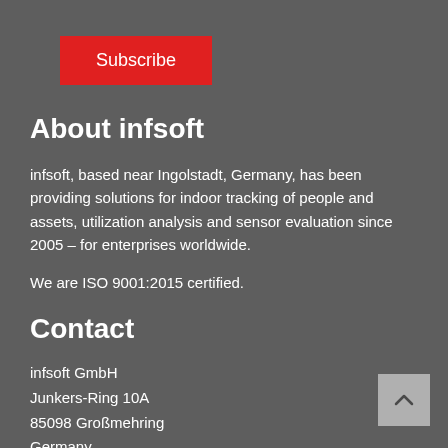Subscribe
About infsoft
infsoft, based near Ingolstadt, Germany, has been providing solutions for indoor tracking of people and assets, utilization analysis and sensor evaluation since 2005 – for enterprises worldwide.
We are ISO 9001:2015 certified.
Contact
infsoft GmbH
Junkers-Ring 10A
85098 Großmehring
Germany